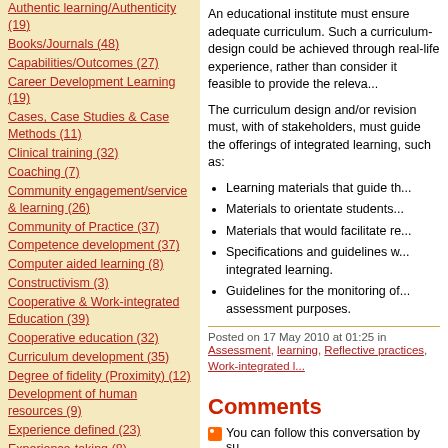Authentic learning/Authenticity (19)
Books/Journals (48)
Capabilities/Outcomes (27)
Career Development Learning (19)
Cases, Case Studies & Case Methods (11)
Clinical training (32)
Coaching (7)
Community engagement/service & learning (26)
Community of Practice (37)
Competence development (37)
Computer aided learning (8)
Constructivism (3)
Cooperative & Work-integrated Education (39)
Cooperative education (32)
Curriculum development (35)
Degree of fidelity (Proximity) (12)
Development of human resources (9)
Experience defined (23)
Experience-taking (8)
Experiential education (4)
Experiential-electronic learning (EE-learning) (8)
An educational institute must ensure adequate curriculum. Such a curriculum-design could be achieved through real-life experience, rather than consider it feasible to provide the relevant...
The curriculum design and/or revision must, with of stakeholders, must guide the offerings of integrated learning, such as:
Learning materials that guide the...
Materials to orientate students...
Materials that would facilitate re...
Specifications and guidelines w... integrated learning.
Guidelines for the monitoring of... assessment purposes.
Posted on 17 May 2010 at 01:25 in Assessment, learning, Reflective practices, Work-integrated l...
Comments
You can follow this conversation by su...